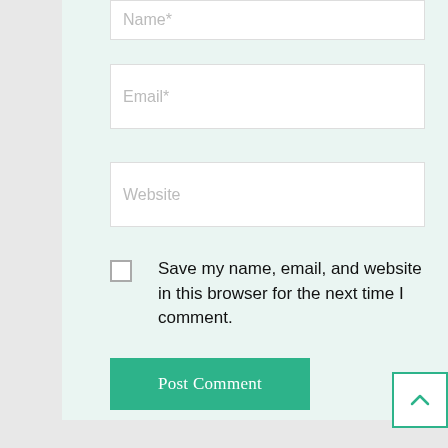Name*
Email*
Website
Save my name, email, and website in this browser for the next time I comment.
Post Comment